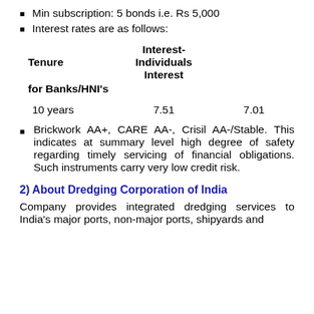Min subscription: 5 bonds i.e. Rs 5,000
Interest rates are as follows:
| Tenure | Interest-Individuals Interest | for Banks/HNI's |
| --- | --- | --- |
| 10 years | 7.51 | 7.01 |
Brickwork AA+, CARE AA-, Crisil AA-/Stable. This indicates at summary level high degree of safety regarding timely servicing of financial obligations. Such instruments carry very low credit risk.
2) About Dredging Corporation of India
Company provides integrated dredging services to India's major ports, non-major ports, shipyards and